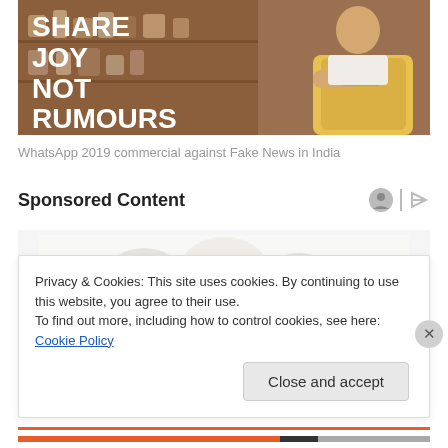[Figure (photo): WhatsApp 2019 commercial image showing a woman in a yellow apron standing with arms crossed in a kitchen/pantry. Bold white text reads SHARE JOY NOT RUMOURS.]
WhatsApp 2019 commercial against Fake News in India
Sponsored Content
[Figure (photo): Partially visible sponsored content image showing some objects on a light background.]
Privacy & Cookies: This site uses cookies. By continuing to use this website, you agree to their use.
To find out more, including how to control cookies, see here: Cookie Policy
Close and accept